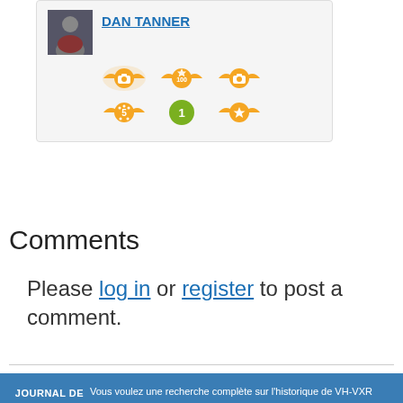[Figure (screenshot): User profile card for Dan Tanner with avatar photo and 6 orange/green badges on a light gray background]
Comments
Please log in or register to post a comment.
JOURNAL DE L'ACTIVITE  Vous voulez une recherche complète sur l'historique de VH-VXR depuis 1998? Achetez maintenant. Recevez-le dans l'heure.